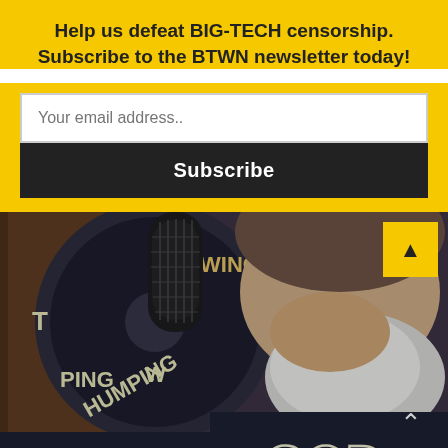Help us defeat BIG-TECH censorship. Subscribe to the BTWN newsletter today!
[Figure (screenshot): A man with a white beard wearing a dark GOD t-shirt, sitting near a podcast microphone with 'THUMPING WING' text visible on a circular logo]
Dustin Segers Joins BTWN to review The...  < >  Elders or Directors